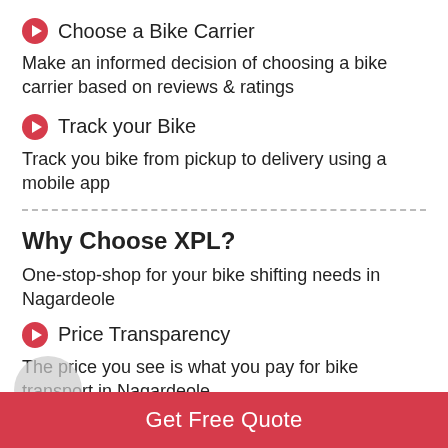Choose a Bike Carrier
Make an informed decision of choosing a bike carrier based on reviews & ratings
Track your Bike
Track you bike from pickup to delivery using a mobile app
Why Choose XPL?
One-stop-shop for your bike shifting needs in Nagardeole
Price Transparency
The price you see is what you pay for bike transport in Nagardeole
Get Free Quote